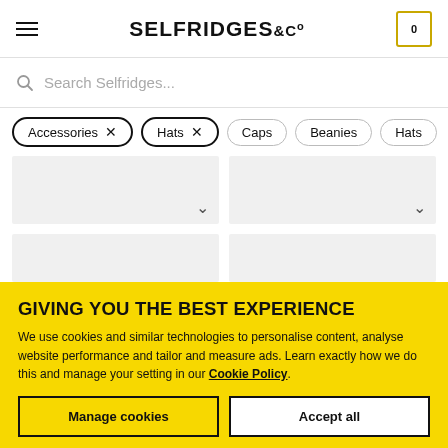SELFRIDGES &CO
Search Selfridges...
Accessories × Hats × Caps Beanies Hats
[Figure (screenshot): Two product card placeholders (light gray) with chevron/dropdown icons, partially visible at top]
[Figure (screenshot): Two product card placeholders (light gray), partially visible]
GIVING YOU THE BEST EXPERIENCE
We use cookies and similar technologies to personalise content, analyse website performance and tailor and measure ads. Learn exactly how we do this and manage your setting in our Cookie Policy.
Manage cookies
Accept all